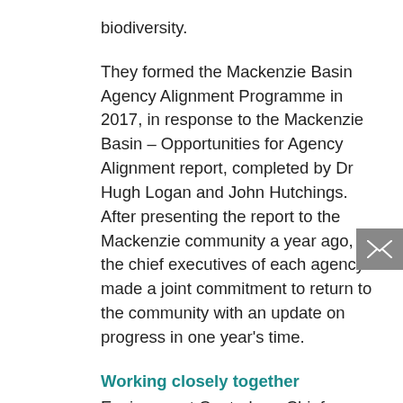biodiversity.
They formed the Mackenzie Basin Agency Alignment Programme in 2017, in response to the Mackenzie Basin – Opportunities for Agency Alignment report, completed by Dr Hugh Logan and John Hutchings. After presenting the report to the Mackenzie community a year ago, the chief executives of each agency made a joint commitment to return to the community with an update on progress in one year's time.
Working closely together
Environment Canterbury Chief Executive Bill Bayfield said the five agencies had immediately taken on board the report's 25 recommendations. "We have already done a lot of